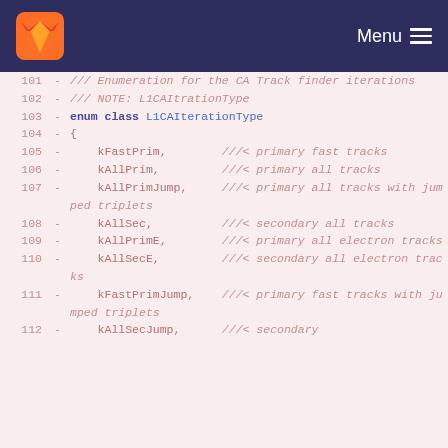GitLab — Menu
101 - /// Enumeration for the CA Track finder iterations
102 - /// NOTE: L1CAItrationType
103 - enum class L1CAIterationType
104 - {
105 -     kFastPrim,        ///< primary fast tracks
106 -     kAllPrim,         ///< primary all tracks
107 -     kAllPrimJump,     ///< primary all tracks with jumped triplets
108 -     kAllSec,          ///< secondary all tracks
109 -     kAllPrimE,        ///< primary all electron tracks
110 -     kAllSecE,         ///< secondary all electron tracks
111 -     kFastPrimJump,    ///< primary fast tracks with jumped triplets
112 -     kAllSecJump,      ///< secondary